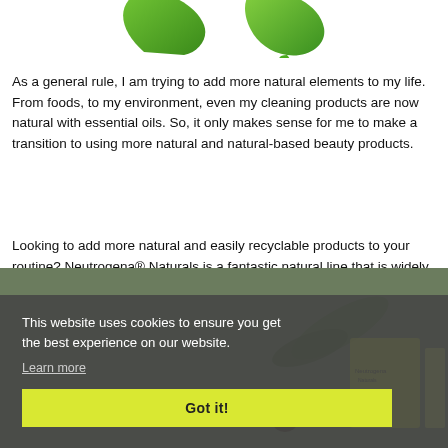[Figure (logo): Green leaf/arrow recycling symbol logo at top center]
As a general rule, I am trying to add more natural elements to my life. From foods, to my environment, even my cleaning products are now natural with essential oils. So, it only makes sense for me to make a transition to using more natural and natural-based beauty products.
Looking to add more natural and easily recyclable products to your routine? Neutrogena® Naturals is a fantastic natural line that is widely available at drugstores and mass retailers.
[Figure (photo): Bottom half of page showing Neutrogena Naturals product packaging with plants and seeds, partially obscured by cookie consent overlay]
This website uses cookies to ensure you get the best experience on our website.
Learn more
Got it!